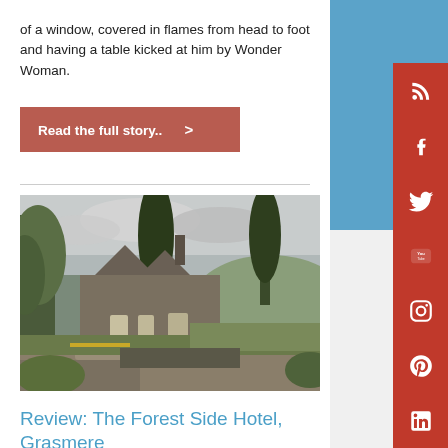of a window, covered in flames from head to foot and having a table kicked at him by Wonder Woman.
Read the full story.. >
[Figure (photo): Exterior photo of The Forest Side Hotel in Grasmere, a stone manor house surrounded by trees with a cloudy sky]
Review: The Forest Side Hotel, Grasmere
Polly Checkland Harding · November 1, 2017